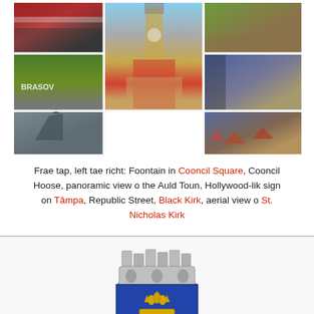[Figure (photo): Collage of 7 photos of Brașov: fountain in Council Square, Council House with clock tower (center tall), panoramic hillside view, Hollywood-like Tampa sign on hill, Republic Street architecture, Black Kirk church, aerial view of St. Nicholas Kirk]
Frae tap, left tae richt: Foontain in Cooncil Square, Cooncil Hoose, panoramic view o the Auld Toun, Hollywood-lik sign on Tâmpa, Republic Street, Black Kirk, aerial view o St. Nicholas Kirk
[Figure (illustration): Coat of arms of Brașov: gray crenellated crown/tower at top, blue shield with gold crown and black lion's head below]